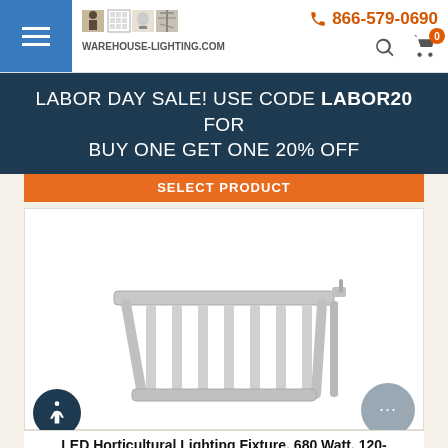WAREHOUSE-LIGHTING.COM | 866-579-0690
LABOR DAY SALE! USE CODE LABOR20 FOR BUY ONE GET ONE 20% OFF
[Figure (screenshot): SELECT PRODUCT orange button strip]
[Figure (photo): LED Horticultural Lighting Fixture product image showing grow light with multiple bars in a foldable frame, silver/gray color]
LED Horticultural Lighting Fixture, 680 Watt, 120-277V